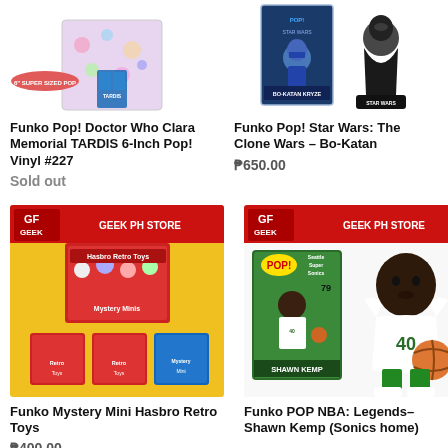[Figure (photo): Funko Pop Doctor Who Clara Memorial TARDIS 6-inch vinyl figure product image with Super Sized Pop badge]
[Figure (photo): Funko Pop Star Wars The Clone Wars Bo-Katan figure with box, Star Wars branded]
Funko Pop! Doctor Who Clara Memorial TARDIS 6-Inch Pop! Vinyl #227
Sold out
Funko Pop! Star Wars: The Clone Wars – Bo-Katan
₱650.00
[Figure (photo): Funko Mystery Mini Hasbro Retro Toys display box with individual blind boxes, yellow background, Geek PH Store banner]
[Figure (photo): Funko POP NBA Legends Shawn Kemp Sonics home figure #79, showing box and figure, Geek PH Store banner]
Funko Mystery Mini Hasbro Retro Toys
₱400.00
Funko POP NBA: Legends– Shawn Kemp (Sonics home)